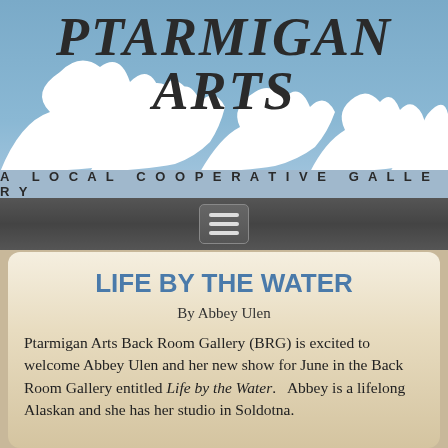[Figure (logo): Ptarmigan Arts logo banner with blue sky background, white ptarmigan bird silhouettes, and stylized italic bold text reading 'PTARMIGAN ARTS'. Below is a lighter blue bar with text 'A LOCAL COOPERATIVE GALLERY'.]
[Figure (screenshot): Dark navigation bar with a hamburger menu icon (three horizontal lines in a rounded rectangle button)]
LIFE BY THE WATER
By Abbey Ulen
Ptarmigan Arts Back Room Gallery (BRG) is excited to welcome Abbey Ulen and her new show for June in the Back Room Gallery entitled Life by the Water.   Abbey is a lifelong Alaskan and she has her studio in Soldotna.